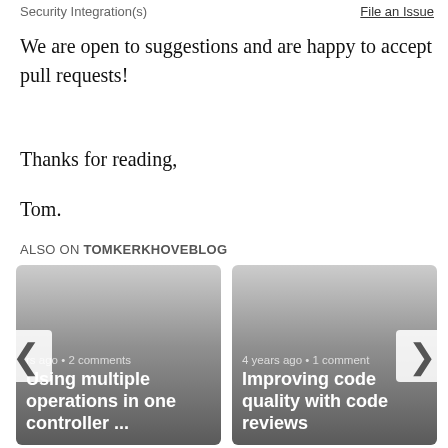Security Integration(s)    File an Issue
We are open to suggestions and are happy to accept pull requests!
Thanks for reading,
Tom.
ALSO ON TOMKERKHOVEBLOG
[Figure (screenshot): Blog post card: 'Using multiple operations in one controller ...' — rs ago • 2 comments]
[Figure (screenshot): Blog post card: 'Improving code quality with code reviews' — 4 years ago • 1 comment]
[Figure (screenshot): Partially visible blog post card on the right edge]